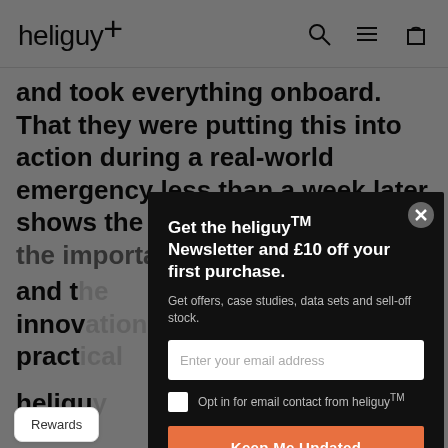heliguy™
and took everything onboard. That they were putting this into action during a real-world emergency less than a week later shows the value of the course, the importance of drones and t... innov... pract...
heligu... stry-speci... emer... e Briga... ining provis...
Get the heliguy™ Newsletter and £10 off your first purchase.
Get offers, case studies, data sets and sell-off stock.
Enter your email address
Opt in for email contact from heliguy™
Keep Me Updated
Rewards